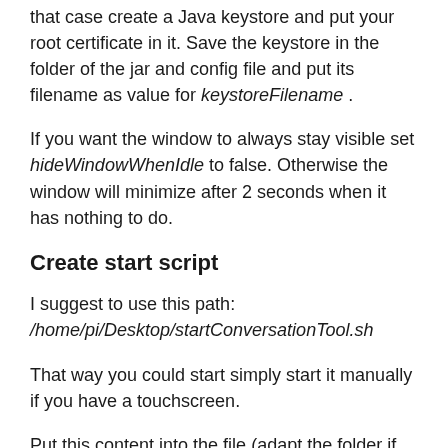that case create a Java keystore and put your root certificate in it. Save the keystore in the folder of the jar and config file and put its filename as value for keystoreFilename .
If you want the window to always stay visible set hideWindowWhenIdle to false. Otherwise the window will minimize after 2 seconds when it has nothing to do.
Create start script
I suggest to use this path: /home/pi/Desktop/startConversationTool.sh
That way you could start simply start it manually if you have a touchscreen.
Put this content into the file (adapt the folder if you changed it above):